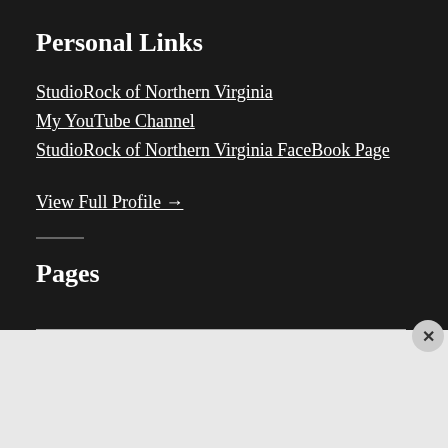Personal Links
StudioRock of Northern Virginia
My YouTube Channel
StudioRock of Northern Virginia FaceBook Page
View Full Profile →
Pages
[Figure (screenshot): DuckDuckGo advertisement banner: orange background with text 'Search, browse, and email with more privacy. All in One Free App' and a DuckDuckGo logo on a phone mockup]